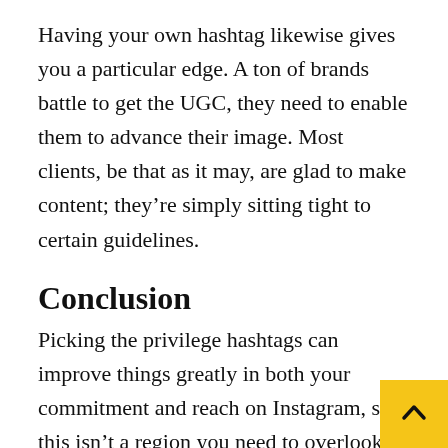Having your own hashtag likewise gives you a particular edge. A ton of brands battle to get the UGC, they need to enable them to advance their image. Most clients, be that as it may, are glad to make content; they're simply sitting tight to certain guidelines.
Conclusion
Picking the privilege hashtags can improve things greatly in both your commitment and reach on Instagram, so this isn't a region you need to overlook. Set aside some effort to your examination, test various methodologies,